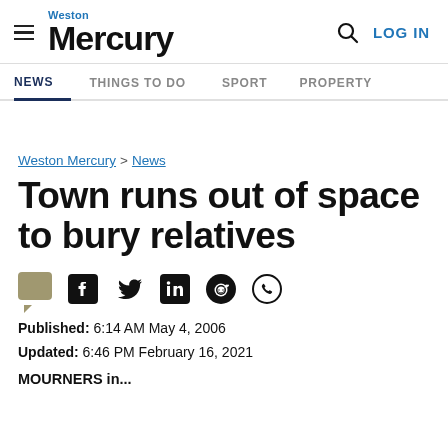Weston Mercury — NEWS | THINGS TO DO | SPORT | PROPERTY | LOG IN
Weston Mercury > News
Town runs out of space to bury relatives
Published: 6:14 AM May 4, 2006
Updated: 6:46 PM February 16, 2021
MOURNERS in...